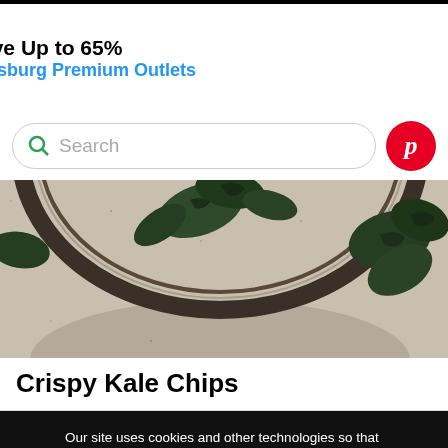[Figure (other): Advertisement banner: Save Up to 65% Leesburg Premium Outlets with infinity logo and blue diamond arrow icon]
[Figure (screenshot): Search bar with green magnifying glass icon placeholder text 'Search' and Pinterest red circle button on right]
[Figure (photo): Top-down photo of a dark bowl containing crispy kale chips on a speckled surface]
Crispy Kale Chips
Our site uses cookies and other technologies so that we, and our partners, can remember you and understand how you use our site. For more information visit our Privacy Policy.
[Figure (other): OK button (teal/mint green) for cookie consent]
[Figure (other): Advertisement banner: Back To School Essentials Leesburg Premium Outlets with infinity logo and blue diamond arrow icon]